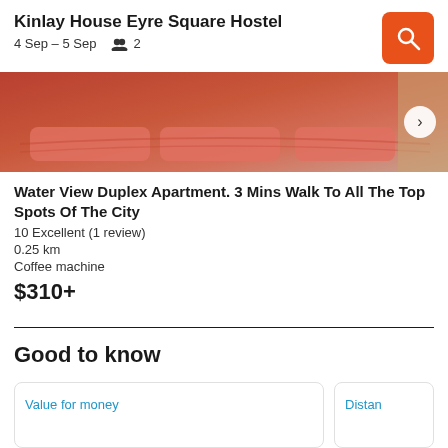Kinlay House Eyre Square Hostel — 4 Sep – 5 Sep   2
[Figure (photo): Photo of hotel room with orange/red pillows and bedding visible at the bottom of the image]
Water View Duplex Apartment. 3 Mins Walk To All The Top Spots Of The City
10 Excellent (1 review)
0.25 km
Coffee machine
$310+
Good to know
Value for money
Distan